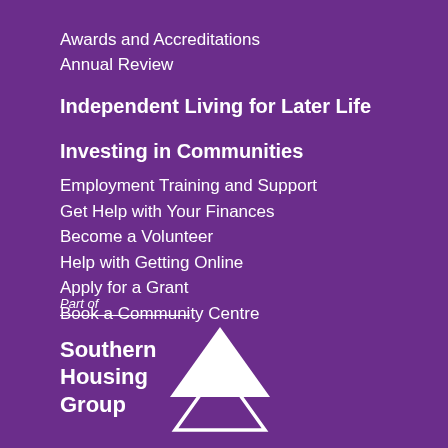Awards and Accreditations
Annual Review
Independent Living for Later Life
Investing in Communities
Employment Training and Support
Get Help with Your Finances
Become a Volunteer
Help with Getting Online
Apply for a Grant
Book a Community Centre
[Figure (logo): Southern Housing Group logo with white triangle/house icon and text 'Part of Southern Housing Group']